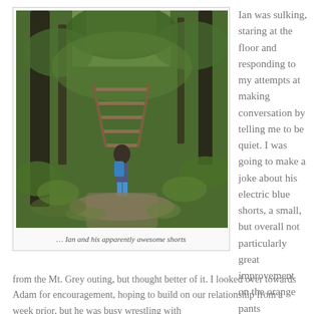[Figure (photo): Person with blue backpack climbing wooden stairs on a forest trail surrounded by lush green vegetation]
… Ian and his apparently awesome shorts
Ian was sulking, staring at the floor and responding to my attempts at making conversation by telling me to be quiet. I was going to make a joke about his electric blue shorts, a small, but overall not particularly great improvement on the orange pants from the Mt. Grey outing, but thought better of it. I looked over towards Adam for encouragement, hoping to build on our relationship from a week prior, but he was busy wrestling with